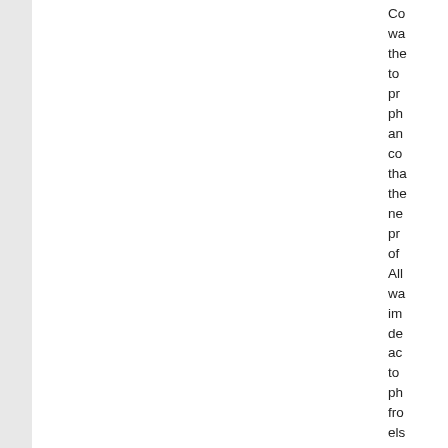Co wa the to pr ph an co the the ne pr of All wa im de ac to ph fro els Th we 27